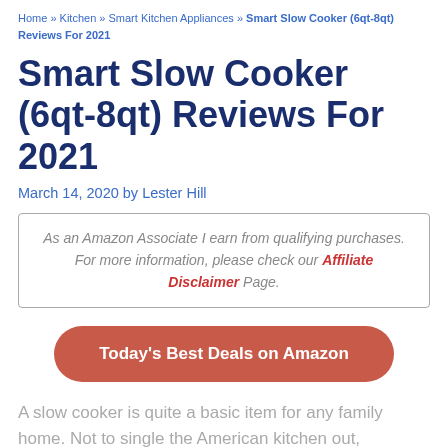Home » Kitchen » Smart Kitchen Appliances » Smart Slow Cooker (6qt-8qt) Reviews For 2021
Smart Slow Cooker (6qt-8qt) Reviews For 2021
March 14, 2020 by Lester Hill
As an Amazon Associate I earn from qualifying purchases. For more information, please check our Affiliate Disclaimer Page.
Today's Best Deals on Amazon
A slow cooker is quite a basic item for any family home. Not to single the American kitchen out,